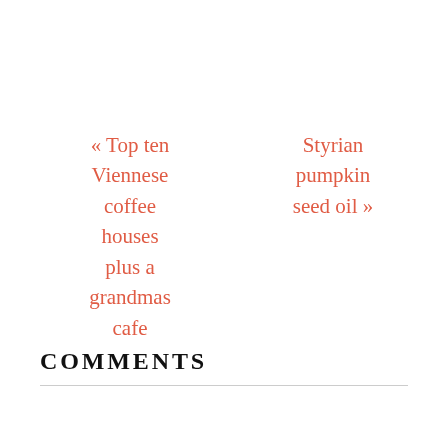« Top ten Viennese coffee houses plus a grandmas cafe
Styrian pumpkin seed oil »
COMMENTS